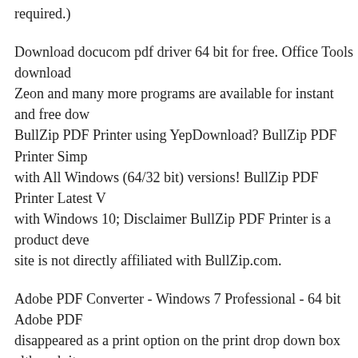required.)
Download docucom pdf driver 64 bit for free. Office Tools download - Zeon and many more programs are available for instant and free dow... BullZip PDF Printer using YepDownload? BullZip PDF Printer Simp... with All Windows (64/32 bit) versions! BullZip PDF Printer Latest V... with Windows 10; Disclaimer BullZip PDF Printer is a product deve... site is not directly affiliated with BullZip.com.
Adobe PDF Converter - Windows 7 Professional - 64 bit Adobe PDF... disappeared as a print option on the print drop down box although it... Windows 7 Professional - 64 bit Adobe PDF Converter seems to hav... option on the print drop down box although it вЂ¦
03/08/2009В В· All products support Microsoft Windows 7 32-bit (x... Edition), and are backward compatible with Microsoft Windows Vis... 2000, Windows Server 2003, Windows 2000 Server, and Windows S... print printer win7 win7pdf windows windows7. Free Download 2.2M... Free Download for Windows 10, 8.1, 7 [64/32 bit] Download doPDF... and 32 bit latest versions for free for windows 10, Windows 7 and Wi...